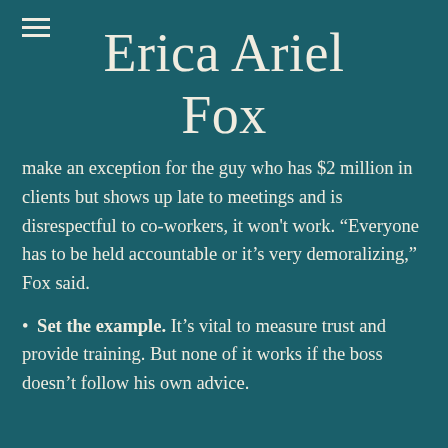Erica Ariel Fox
make an exception for the guy who has $2 million in clients but shows up late to meetings and is disrespectful to co-workers, it won't work. “Everyone has to be held accountable or it’s very demoralizing,” Fox said.
Set the example. It’s vital to measure trust and provide training. But none of it works if the boss doesn’t follow his own advice.